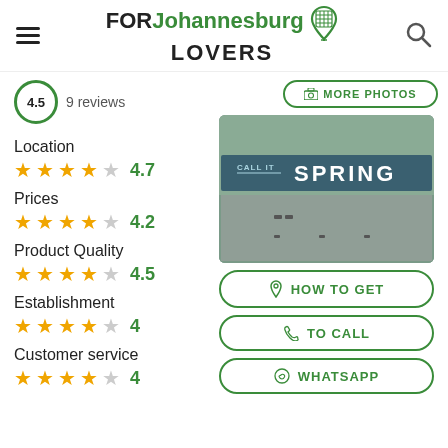FOR Johannesburg LOVERS
9 reviews
Location 4.7
Prices 4.2
Product Quality 4.5
Establishment 4
Customer service 4
[Figure (photo): Photo of a shop sign reading CALL IT SPRING on a dark teal background]
MORE PHOTOS
HOW TO GET
TO CALL
WHATSAPP